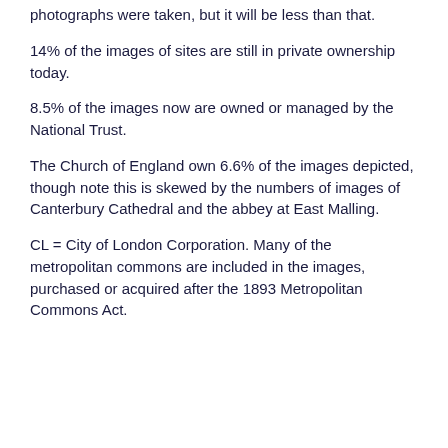photographs were taken, but it will be less than that.
14% of the images of sites are still in private ownership today.
8.5% of the images now are owned or managed by the National Trust.
The Church of England own 6.6% of the images depicted, though note this is skewed by the numbers of images of Canterbury Cathedral and the abbey at East Malling.
CL = City of London Corporation. Many of the metropolitan commons are included in the images, purchased or acquired after the 1893 Metropolitan Commons Act.